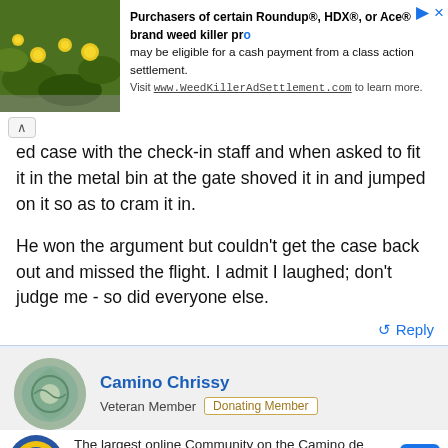[Figure (screenshot): Advertisement banner with plant/flower image on left and text about Roundup class action settlement on right]
ed case with the check-in staff and when asked to fit it in the metal bin at the gate shoved it in and jumped on it so as to cram it in.
He won the argument but couldn't get the case back out and missed the flight. I admit I laughed; don't judge me - so did everyone else.
Reply
🤣 vjpdx, Eve Alexandra, davebugg and 5 others
Camino Chrissy
Veteran Member  Donating Member
The largest online Community on the Camino de Santiago. Helping pilgrims travel to Santiago de Compostela. Register (free) or Log in to join.